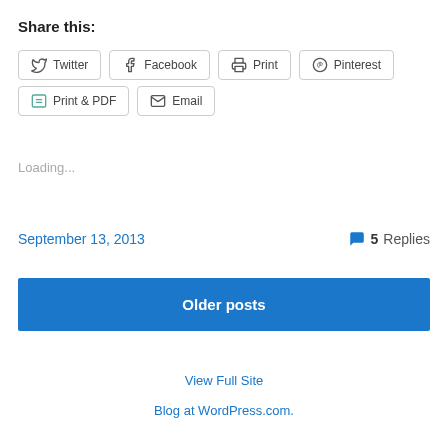Share this:
Twitter | Facebook | Print | Pinterest | Print & PDF | Email
Loading...
September 13, 2013   5 Replies
Older posts
View Full Site
Blog at WordPress.com.